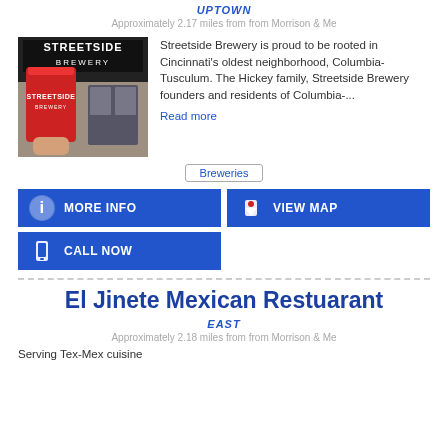UPTOWN
Approximately 2.17 miles from from Morrison & Me
[Figure (photo): Photo of Streetside Brewery storefront with red cup held in front]
Streetside Brewery is proud to be rooted in Cincinnati's oldest neighborhood, Columbia-Tusculum. The Hickey family, Streetside Brewery founders and residents of Columbia-...
Read more
Breweries
MORE INFO
VIEW MAP
CALL NOW
El Jinete Mexican Restuarant
EAST
Approximately 2.18 miles from from Morrison & Me
Serving Tex-Mex cuisine